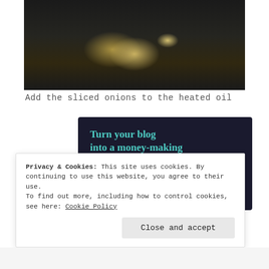[Figure (photo): Food photo showing sliced onions being cooked in heated oil in a dark pan, seen from above.]
Add the sliced onions to the heated oil
[Figure (infographic): Advertisement banner with dark navy background. Text reads 'Turn your blog into a money-making online course.' with a teal 'Learn More' button and Sensei logo in the bottom right.]
Privacy & Cookies: This site uses cookies. By continuing to use this website, you agree to their use.
To find out more, including how to control cookies, see here: Cookie Policy
Close and accept